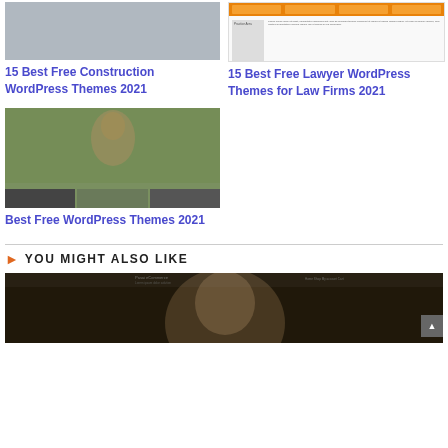[Figure (screenshot): Construction WordPress theme screenshot placeholder]
15 Best Free Construction WordPress Themes 2021
[Figure (screenshot): Lawyer WordPress theme preview with orange navigation bar and practice area sidebar]
15 Best Free Lawyer WordPress Themes for Law Firms 2021
[Figure (screenshot): Best Free WordPress Themes screenshot showing woman photo and gallery thumbnails]
Best Free WordPress Themes 2021
YOU MIGHT ALSO LIKE
[Figure (screenshot): Featured image showing eCommerce WordPress theme with woman portrait]